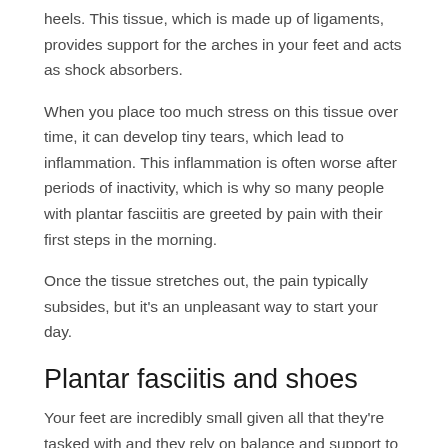heels. This tissue, which is made up of ligaments, provides support for the arches in your feet and acts as shock absorbers.
When you place too much stress on this tissue over time, it can develop tiny tears, which lead to inflammation. This inflammation is often worse after periods of inactivity, which is why so many people with plantar fasciitis are greeted by pain with their first steps in the morning.
Once the tissue stretches out, the pain typically subsides, but it's an unpleasant way to start your day.
Plantar fasciitis and shoes
Your feet are incredibly small given all that they're tasked with and they rely on balance and support to propel you through the day, without pain.